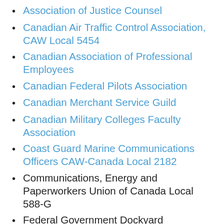Association of Justice Counsel
Canadian Air Traffic Control Association, CAW Local 5454
Canadian Association of Professional Employees
Canadian Federal Pilots Association
Canadian Merchant Service Guild
Canadian Military Colleges Faculty Association
Coast Guard Marine Communications Officers CAW-Canada Local 2182
Communications, Energy and Paperworkers Union of Canada Local 588-G
Federal Government Dockyard Chargehands Association
Federal Government Dockyard Trades and Labour Council (East)